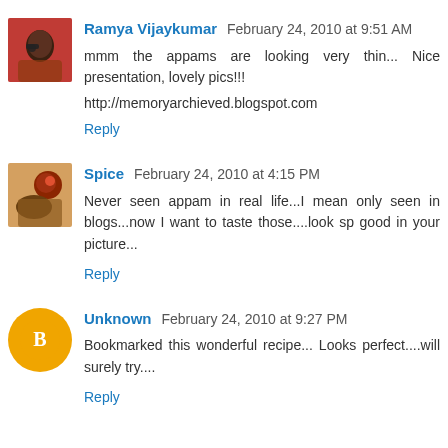Ramya Vijaykumar February 24, 2010 at 9:51 AM
mmm the appams are looking very thin... Nice presentation, lovely pics!!!
http://memoryarchieved.blogspot.com
Reply
Spice February 24, 2010 at 4:15 PM
Never seen appam in real life...I mean only seen in blogs...now I want to taste those....look sp good in your picture...
Reply
Unknown February 24, 2010 at 9:27 PM
Bookmarked this wonderful recipe... Looks perfect....will surely try....
Reply